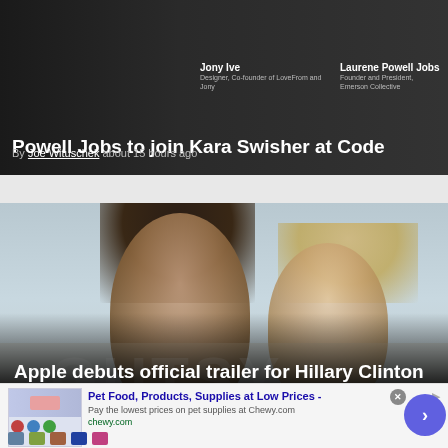[Figure (photo): Dark banner with photo showing Jony Ive and Laurene Powell Jobs with name labels]
Powell Jobs to join Kara Swisher at Code
By Joe Wituschek about 15 hours ago
[Figure (photo): Photo of two women smiling with GUTSY logo overlay - Hillary Clinton and Chelsea Clinton]
Apple debuts official trailer for Hillary Clinton and Chelsea Clinton series Gutsy
By Joe Wituschek about 16 hours ago
[Figure (other): Advertisement for Chewy.com - Pet Food, Products, Supplies at Low Prices]